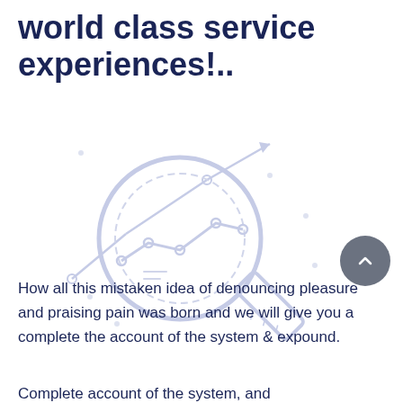world class service experiences!..
[Figure (illustration): A light blue/lavender line-art illustration of a magnifying glass with a line chart inside it, overlaid with an upward trending arrow and small dot decorations, along with a ruler/pencil element at the bottom right.]
How all this mistaken idea of denouncing pleasure and praising pain was born and we will give you a complete the account of the system & expound.
Complete account of the system, and